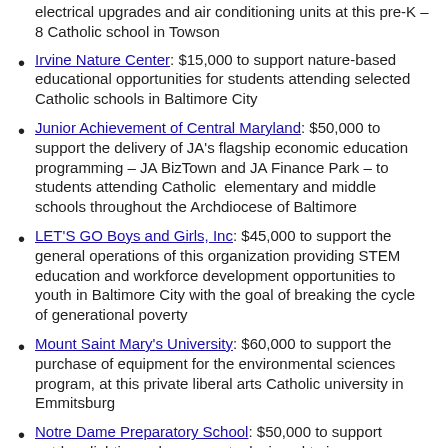electrical upgrades and air conditioning units at this pre-K – 8 Catholic school in Towson
Irvine Nature Center: $15,000 to support nature-based educational opportunities for students attending selected Catholic schools in Baltimore City
Junior Achievement of Central Maryland: $50,000 to support the delivery of JA's flagship economic education programming – JA BizTown and JA Finance Park – to students attending Catholic elementary and middle schools throughout the Archdiocese of Baltimore
LET'S GO Boys and Girls, Inc: $45,000 to support the general operations of this organization providing STEM education and workforce development opportunities to youth in Baltimore City with the goal of breaking the cycle of generational poverty
Mount Saint Mary's University: $60,000 to support the purchase of equipment for the environmental sciences program, at this private liberal arts Catholic university in Emmitsburg
Notre Dame Preparatory School: $50,000 to support outdoor lighting enhancements designed to improve athletic field access and security at this Catholic, independent school for girls in grades 6 – 12 in Towson